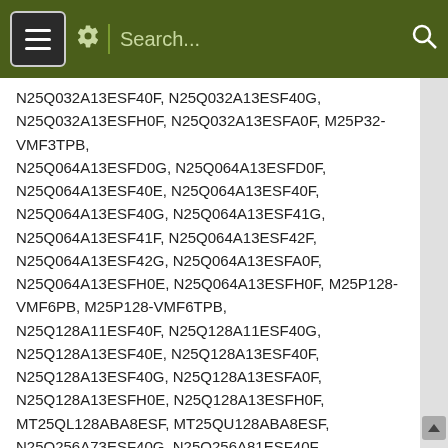Search...
N25Q032A13ESF40F, N25Q032A13ESF40G, N25Q032A13ESFH0F, N25Q032A13ESFA0F, M25P32-VMF3TPB, N25Q064A13ESFD0G, N25Q064A13ESFD0F, N25Q064A13ESF40E, N25Q064A13ESF40F, N25Q064A13ESF40G, N25Q064A13ESF41G, N25Q064A13ESF41F, N25Q064A13ESF42F, N25Q064A13ESF42G, N25Q064A13ESFA0F, N25Q064A13ESFH0E, N25Q064A13ESFH0F, M25P128-VMF6PB, M25P128-VMF6TPB, N25Q128A11ESF40F, N25Q128A11ESF40G, N25Q128A13ESF40E, N25Q128A13ESF40F, N25Q128A13ESF40G, N25Q128A13ESFA0F, N25Q128A13ESFH0E, N25Q128A13ESFH0F, MT25QL128ABA8ESF, MT25QU128ABA8ESF, N25Q256A73ESF40G, N25Q256A81ESF40F, N25Q256A13ESF40F, N25Q256A13ESF40G, N25Q256A13ESFA0F, N25Q256A13ESFH0F, N25Q256A73ESF40F, N25Q256A83ESF40F,